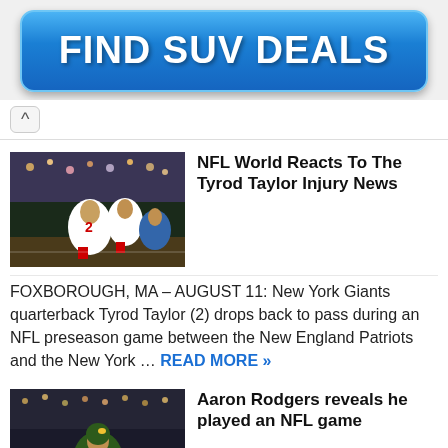[Figure (other): Blue button advertisement banner reading FIND SUV DEALS]
[Figure (photo): NFL football game photo showing New York Giants quarterback Tyrod Taylor (2) dropping back to pass]
NFL World Reacts To The Tyrod Taylor Injury News
FOXBOROUGH, MA – AUGUST 11: New York Giants quarterback Tyrod Taylor (2) drops back to pass during an NFL preseason game between the New England Patriots and the New York … READ MORE »
[Figure (photo): NFL photo showing Aaron Rodgers in Green Bay Packers uniform]
Aaron Rodgers reveals he played an NFL game